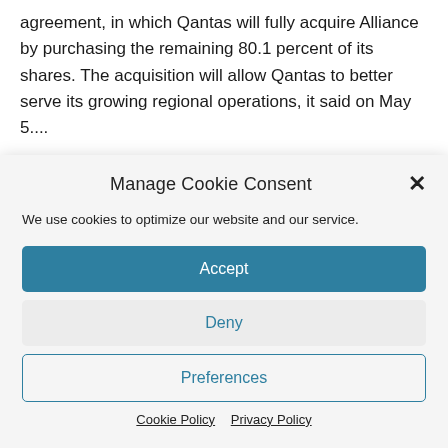agreement, in which Qantas will fully acquire Alliance by purchasing the remaining 80.1 percent of its shares. The acquisition will allow Qantas to better serve its growing regional operations, it said on May 5....
Manage Cookie Consent
We use cookies to optimize our website and our service.
Accept
Deny
Preferences
Cookie Policy   Privacy Policy